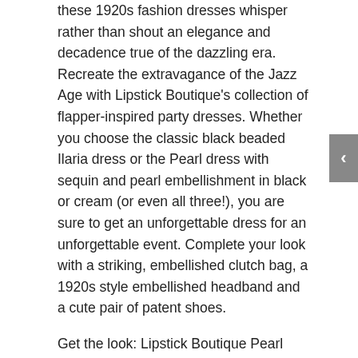these 1920s fashion dresses whisper rather than shout an elegance and decadence true of the dazzling era. Recreate the extravagance of the Jazz Age with Lipstick Boutique's collection of flapper-inspired party dresses. Whether you choose the classic black beaded Ilaria dress or the Pearl dress with sequin and pearl embellishment in black or cream (or even all three!), you are sure to get an unforgettable dress for an unforgettable event. Complete your look with a striking, embellished clutch bag, a 1920s style embellished headband and a cute pair of patent shoes.
Get the look: Lipstick Boutique Pearl Dress in Black and White £35; Lipstick Boutique Pearl Dress in Cream £35; Lipstick Boutique Ilaria Dress £35.
Shop the complete collection of Lipstick Boutique dresses here.